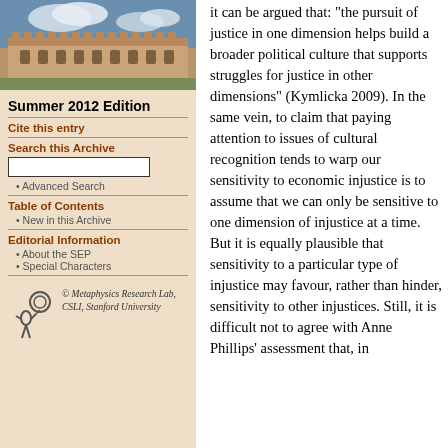[Figure (photo): Photograph of a historic university building (sandstone architecture) with blue sky and clouds]
Summer 2012 Edition
Cite this entry
Search this Archive
Advanced Search
Table of Contents
New in this Archive
Editorial Information
About the SEP
Special Characters
[Figure (logo): Metaphysics Research Lab logo — stylized figure with circular element]
© Metaphysics Research Lab, CSLI, Stanford University
it can be argued that: “the pursuit of justice in one dimension helps build a broader political culture that supports struggles for justice in other dimensions” (Kymlicka 2009). In the same vein, to claim that paying attention to issues of cultural recognition tends to warp our sensitivity to economic injustice is to assume that we can only be sensitive to one dimension of injustice at a time. But it is equally plausible that sensitivity to a particular type of injustice may favour, rather than hinder, sensitivity to other injustices. Still, it is difficult not to agree with Anne Phillips’ assessment that, in